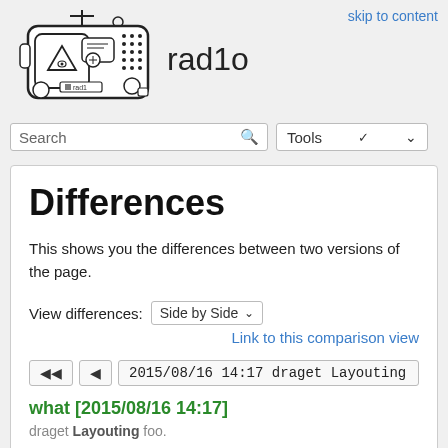[Figure (logo): rad1o device logo illustration - a portable radio/device drawing with antenna, circuit board elements, triangles and circles]
rad1o
skip to content
Search
Tools
Differences
This shows you the differences between two versions of the page.
View differences: Side by Side
Link to this comparison view
◄◄  ◄  2015/08/16 14:17 draget Layouting
what [2015/08/16 14:17]
draget Layouting foo.